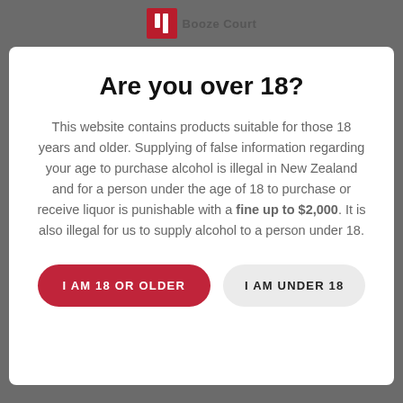Booze Court logo and navigation
Are you over 18?
This website contains products suitable for those 18 years and older. Supplying of false information regarding your age to purchase alcohol is illegal in New Zealand and for a person under the age of 18 to purchase or receive liquor is punishable with a fine up to $2,000. It is also illegal for us to supply alcohol to a person under 18.
I AM 18 OR OLDER
I AM UNDER 18